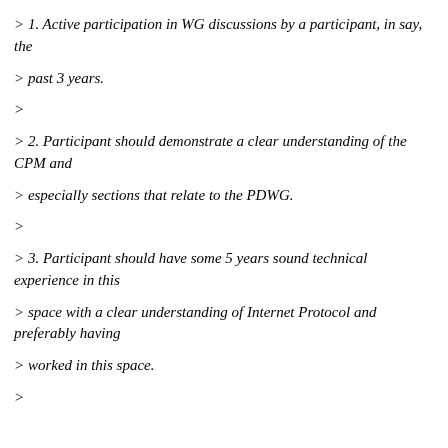> 1. Active participation in WG discussions by a participant, in say, the
> past 3 years.
>
> 2. Participant should demonstrate a clear understanding of the CPM and
> especially sections that relate to the PDWG.
>
> 3. Participant should have some 5 years sound technical experience in this
> space with a clear understanding of Internet Protocol and preferably having
> worked in this space.
>